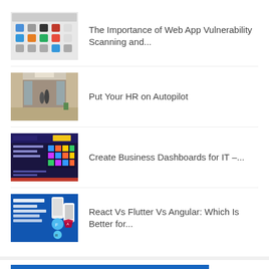The Importance of Web App Vulnerability Scanning and...
Put Your HR on Autopilot
Create Business Dashboards for IT –...
React Vs Flutter Vs Angular: Which Is Better for...
[Figure (screenshot): Blue banner section at bottom of page with a dark back-to-top button]